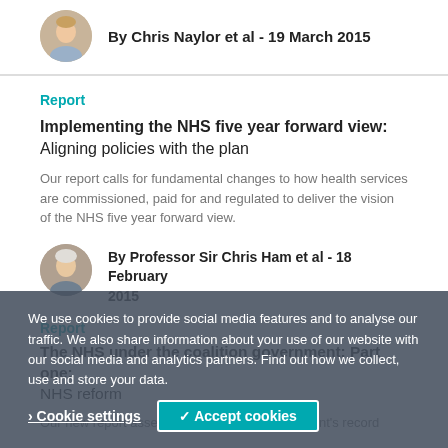[Figure (photo): Headshot of Chris Naylor, a young man with short hair]
By Chris Naylor et al - 19 March 2015
Report
Implementing the NHS five year forward view: Aligning policies with the plan
Our report calls for fundamental changes to how health services are commissioned, paid for and regulated to deliver the vision of the NHS five year forward view.
[Figure (photo): Headshot of Professor Sir Chris Ham, an older man]
By Professor Sir Chris Ham et al - 18 February 2015
Report
The NHS under the coalition government: Part one: NHS reform
Our new report assesses the coalition government's record
We use cookies to provide social media features and to analyse our traffic. We also share information about your use of our website with our social media and analytics partners. Find out how we collect, use and store your data.
Cookie settings
✓ Accept cookies